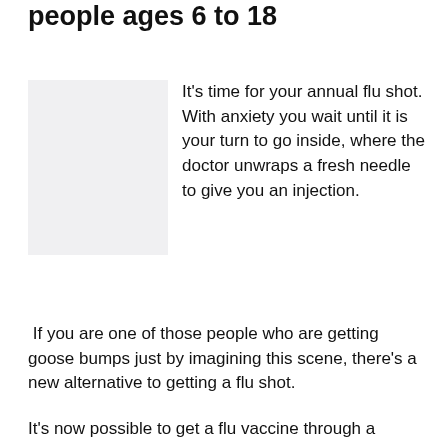people ages 6 to 18
[Figure (photo): A light gray placeholder image representing a photo related to flu shots or medical setting]
It's time for your annual flu shot. With anxiety you wait until it is your turn to go inside, where the doctor unwraps a fresh needle to give you an injection.
If you are one of those people who are getting goose bumps just by imagining this scene, there's a new alternative to getting a flu shot.
It's now possible to get a flu vaccine through a